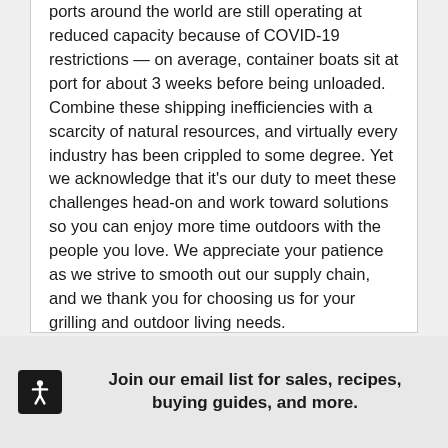ports around the world are still operating at reduced capacity because of COVID-19 restrictions — on average, container boats sit at port for about 3 weeks before being unloaded. Combine these shipping inefficiencies with a scarcity of natural resources, and virtually every industry has been crippled to some degree. Yet we acknowledge that it's our duty to meet these challenges head-on and work toward solutions so you can enjoy more time outdoors with the people you love. We appreciate your patience as we strive to smooth out our supply chain, and we thank you for choosing us for your grilling and outdoor living needs.
Join our email list for sales, recipes, buying guides, and more.